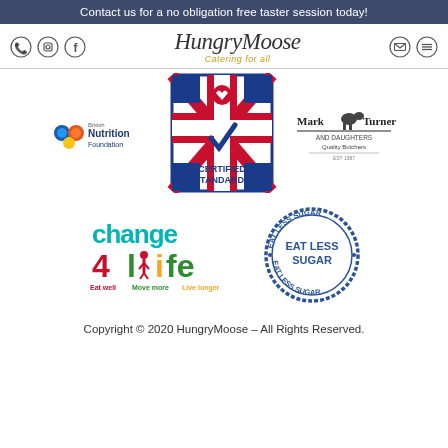Contact us for a no obligation free taster session today!
[Figure (logo): HungryMoose Catering for all logo with social media icons (phone, instagram, facebook on left; email, menu on right)]
[Figure (logo): British Nutrition Foundation logo]
[Figure (logo): Red Tractor Certified Standards logo with Union Jack]
[Figure (logo): Mark Turner and Daughters Quality Butchers logo]
[Figure (logo): Change 4 Life logo - Eat well Move more Live longer]
[Figure (logo): Eat Less Sugar stamp logo]
Copyright © 2020 HungryMoose – All Rights Reserved.